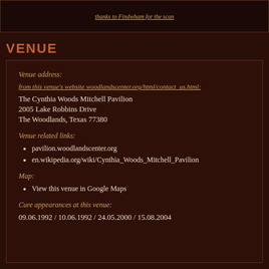thanks to Findwham for the scan
VENUE
Venue address:
from this venue's website woodlandscenter.org/html/contact_us.html:
The Cynthia Woods Mitchell Pavilion
2005 Lake Robbins Drive
The Woodlands, Texas 77380
Venue related links:
pavilion.woodlandscenter.org
en.wikipedia.org/wiki/Cynthia_Woods_Mitchell_Pavilion
Map:
View this venue in Google Maps
Cure appearances at this venue:
09.06.1992 / 10.06.1992 / 24.05.2000 / 15.08.2004